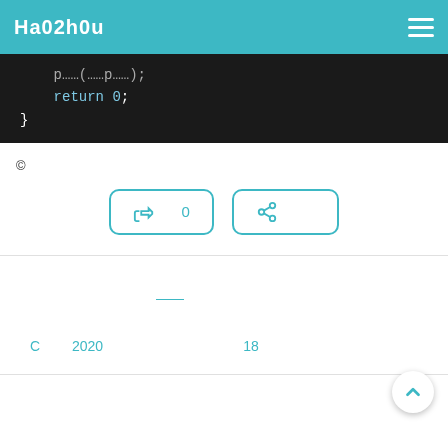Ha02h0u
[Figure (screenshot): Code block showing 'return 0;' and closing brace on dark background]
©
[Figure (other): Two teal-outlined buttons: thumbs-up icon with '　0' and share icon with '　　']
——
C 　　2020　　　　　　　　　　18